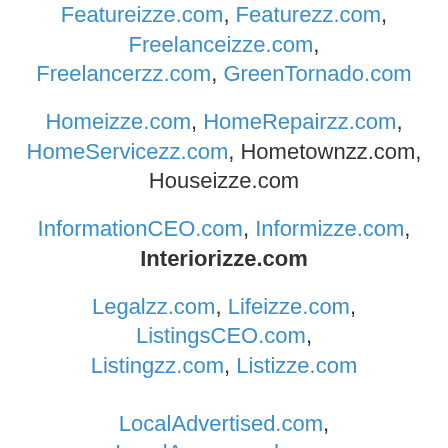Featureizze.com, Featurezz.com, Freelanceizze.com, Freelancerzz.com, GreenTornado.com
Homeizze.com, HomeRepairzz.com, HomeServicezz.com, Hometownzz.com, Houseizze.com
InformationCEO.com, Informizze.com, Interiorizze.com
Legalzz.com, Lifeizze.com, ListingsCEO.com, Listingzz.com, Listizze.com
LocalAdvertised.com, LocalAnnounced.com, LocalBranded.com, LocalBrowsed.com, LocalBundled.com, LocalCategories.com, LocalCentralized.com, LocalDigitalized.com, LocalDiscovered.com, LocalDisplayed.com